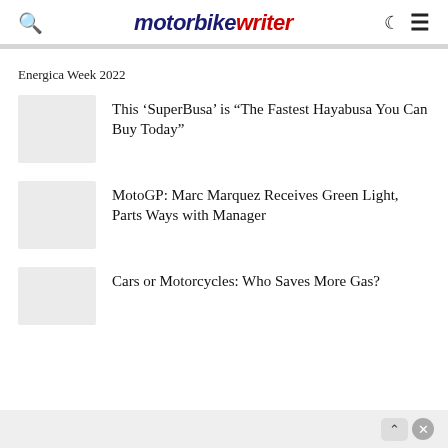motorbike writer
Energica Week 2022
This ‘SuperBusa’ is “The Fastest Hayabusa You Can Buy Today”
MotoGP: Marc Marquez Receives Green Light, Parts Ways with Manager
Cars or Motorcycles: Who Saves More Gas?